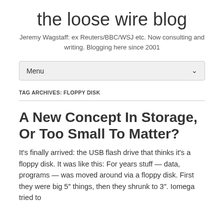the loose wire blog
Jeremy Wagstaff: ex Reuters/BBC/WSJ etc. Now consulting and writing. Blogging here since 2001
Menu
TAG ARCHIVES: FLOPPY DISK
A New Concept In Storage, Or Too Small To Matter?
It's finally arrived: the USB flash drive that thinks it's a floppy disk. It was like this: For years stuff — data, programs — was moved around via a floppy disk. First they were big 5" things, then they shrunk to 3". Iomega tried to